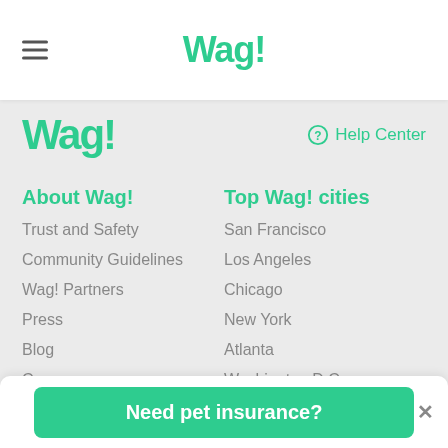Wag!
[Figure (logo): Wag! logo in large green text with Help Center link]
About Wag!
Trust and Safety
Community Guidelines
Wag! Partners
Press
Blog
Careers
Become a Dog Walker
Top Wag! cities
San Francisco
Los Angeles
Chicago
New York
Atlanta
Washington D.C.
Dallas
Miami
Need pet insurance?